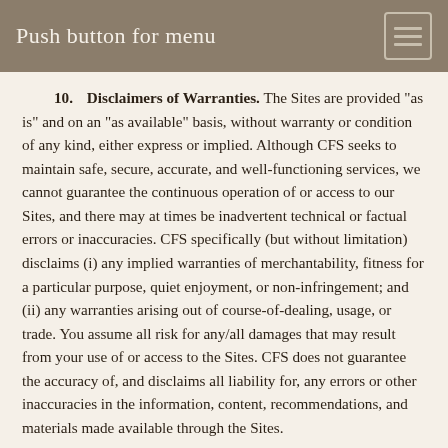Push button for menu
10. Disclaimers of Warranties. The Sites are provided "as is" and on an "as available" basis, without warranty or condition of any kind, either express or implied. Although CFS seeks to maintain safe, secure, accurate, and well-functioning services, we cannot guarantee the continuous operation of or access to our Sites, and there may at times be inadvertent technical or factual errors or inaccuracies. CFS specifically (but without limitation) disclaims (i) any implied warranties of merchantability, fitness for a particular purpose, quiet enjoyment, or non-infringement; and (ii) any warranties arising out of course-of-dealing, usage, or trade. You assume all risk for any/all damages that may result from your use of or access to the Sites. CFS does not guarantee the accuracy of, and disclaims all liability for, any errors or other inaccuracies in the information, content, recommendations, and materials made available through the Sites.
11. Limitation of Liability. In no event will CFS be liable to you for any incidental, special, consequential, direct, indirect, or punitive damages, whether based on warranty, contract, tort (including negligence), statute, or any other legal theory, whether or not CFS has